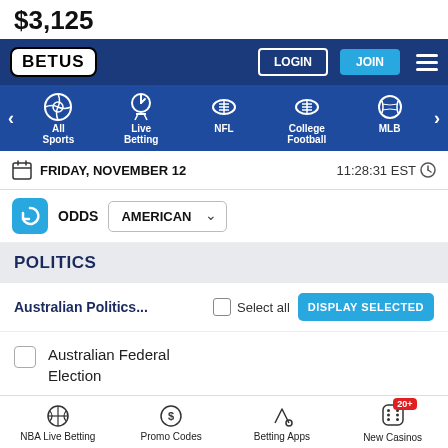$3,125
[Figure (screenshot): BetUS sportsbook website navigation bar with LOGIN, JOIN buttons, hamburger menu, and sports categories: All Sports, Live Betting, NFL, College Football, MLB]
FRIDAY, NOVEMBER 12 — 11:28:31 EST
ODDS AMERICAN
POLITICS
Australian Politics...
Select all
DISPLAY SELECTED
Australian Federal Election
NBA Live Betting  Promo Codes  Betting Apps  New Casinos 20+